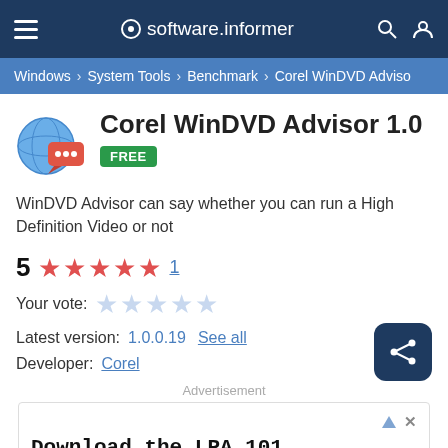software.informer
Windows › System Tools › Benchmark › Corel WinDVD Adviso
Corel WinDVD Advisor 1.0
FREE
WinDVD Advisor can say whether you can run a High Definition Video or not
5 ★★★★★ 1
Your vote:
Latest version:  1.0.0.19  See all
Developer:  Corel
Advertisement
Download the LPA 101 eBook - Layered Process Audit Resource